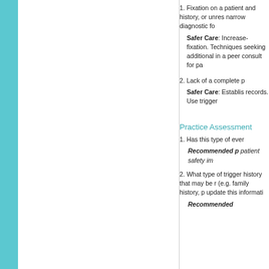1. Fixation on a patient and history, or unres… narrow diagnostic fo…
Safer Care: Increase… fixation. Techniques seeking additional in… a peer consult for pa…
2. Lack of a complete p…
Safer Care: Establis… records. Use trigger…
Practice Assessment
1. Has this type of ever…
Recommended p… patient safety im…
2. What type of trigger… history that may be r… (e.g. family history, p… update this informati…
Recommended…